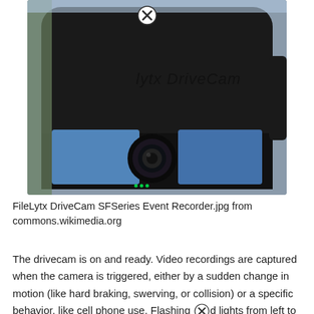[Figure (photo): Close-up photo of a Lytx DriveCam SF Series Event Recorder, a black dashboard camera with a lens visible at the bottom and blue reflective panels on either side of the lens. The Lytx DriveCam logo is visible on the body. A circular close/X button icon overlays the top center of the image.]
FileLytx DriveCam SFSeries Event Recorder.jpg from commons.wikimedia.org
The drivecam is on and ready. Video recordings are captured when the camera is triggered, either by a sudden change in motion (like hard braking, swerving, or collision) or a specific behavior, like cell phone use. Flashing [X] d lights from left to